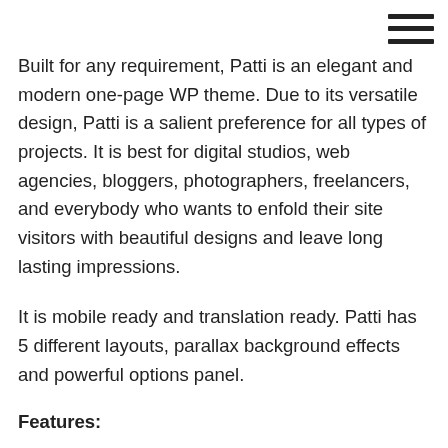Built for any requirement, Patti is an elegant and modern one-page WP theme. Due to its versatile design, Patti is a salient preference for all types of projects. It is best for digital studios, web agencies, bloggers, photographers, freelancers, and everybody who wants to enfold their site visitors with beautiful designs and leave long lasting impressions.
It is mobile ready and translation ready. Patti has 5 different layouts, parallax background effects and powerful options panel.
Features:
Full screen menu navigation
Slider revolution
Templatera + Visual Composer
Google Fonts Integrated